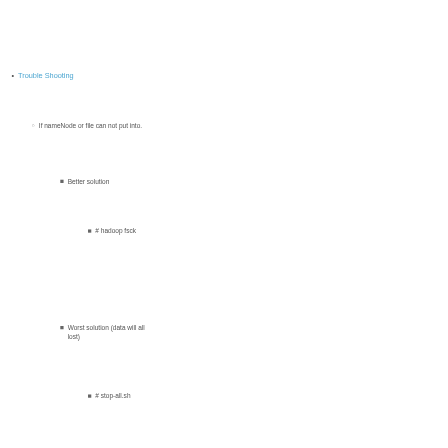Trouble Shooting
If nameNode or file can not put into.
Better solution
# hadoop fsck
Worst solution (data will all lost)
# stop-all.sh